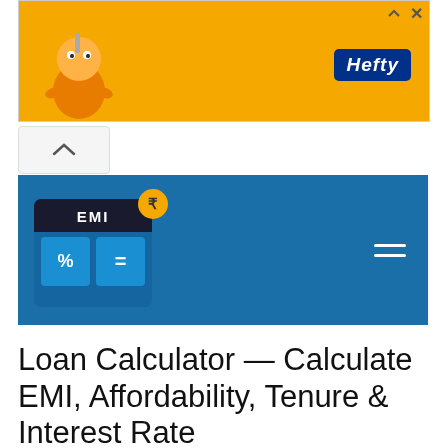[Figure (screenshot): Advertisement banner with orange background showing Hefty brand logo and mascot character]
[Figure (screenshot): Collapse/chevron up button below ad banner]
EMI Loan Calculator navigation header with EMI calculator icon and hamburger menu
Loan Calculator — Calculate EMI, Affordability, Tenure & Interest Rate